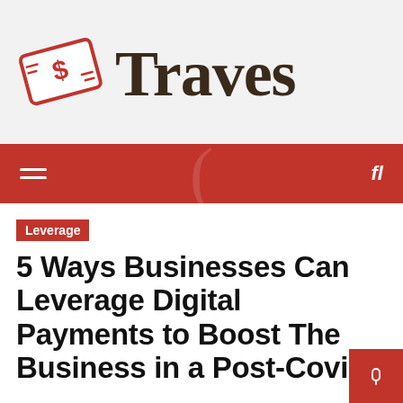[Figure (logo): Traves finance website logo with red money/bill icon on left and 'Traves' in dark serif text on right, on light grey background]
≡  fl
Leverage
5 Ways Businesses Can Leverage Digital Payments to Boost The Business in a Post-Covid